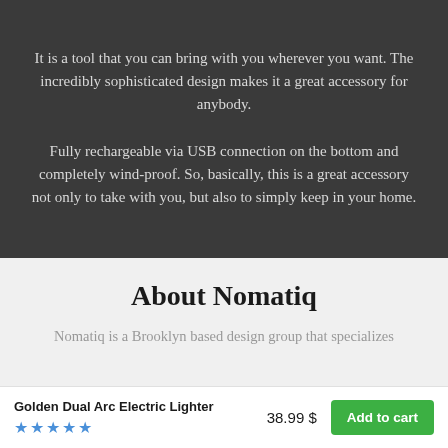It is a tool that you can bring with you wherever you want. The incredibly sophisticated design makes it a great accessory for anybody. Fully rechargeable via USB connection on the bottom and completely wind-proof. So, basically, this is a great accessory not only to take with you, but also to simply keep in your home.
About Nomatiq
Nomatiq is a Brooklyn based design group that specializes
Golden Dual Arc Electric Lighter | ★★★★★ | 38.99 $ | Add to cart